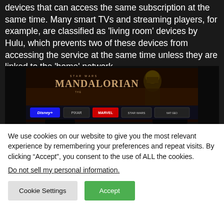devices that can access the same subscription at the same time. Many smart TVs and streaming players, for example, are classified as 'living room' devices by Hulu, which prevents two of these devices from accessing the service at the same time unless they are linked to the 'home' network.
[Figure (photo): Screenshot of Disney+ streaming service interface showing The Mandalorian title on a TV screen, with silhouettes of people watching. Below the main content area shows streaming service logos: Disney+, Pixar, Marvel, Star Wars, National Geographic.]
We use cookies on our website to give you the most relevant experience by remembering your preferences and repeat visits. By clicking “Accept”, you consent to the use of ALL the cookies.
Do not sell my personal information.